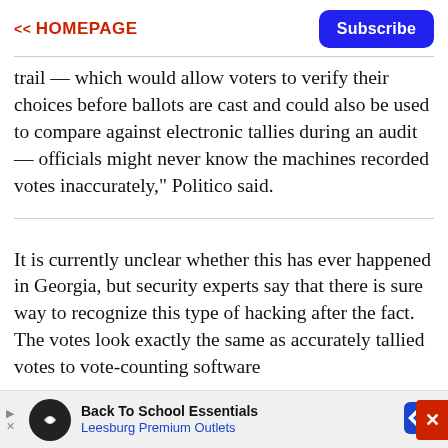<< HOMEPAGE   Subscribe
trail — which would allow voters to verify their choices before ballots are cast and could also be used to compare against electronic tallies during an audit — officials might never know the machines recorded votes inaccurately," Politico said.
It is currently unclear whether this has ever happened in Georgia, but security experts say that there is sure way to recognize this type of hacking after the fact. The votes look exactly the same as accurately tallied votes to vote-counting software
[Figure (infographic): Advertisement bar: Back To School Essentials - Leesburg Premium Outlets with play button, logo icon, and diamond navigation icon]